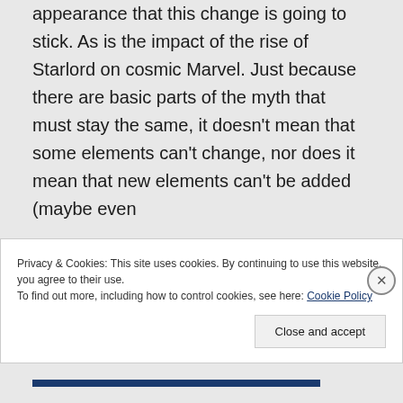appearance that this change is going to stick. As is the impact of the rise of Starlord on cosmic Marvel. Just because there are basic parts of the myth that must stay the same, it doesn't mean that some elements can't change, nor does it mean that new elements can't be added (maybe even
Privacy & Cookies: This site uses cookies. By continuing to use this website, you agree to their use.
To find out more, including how to control cookies, see here: Cookie Policy